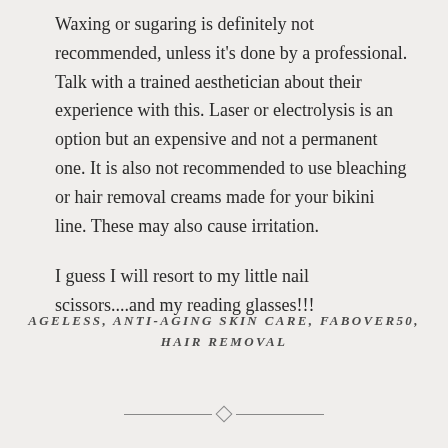Waxing or sugaring is definitely not recommended, unless it's done by a professional. Talk with a trained aesthetician about their experience with this. Laser or electrolysis is an option but an expensive and not a permanent one. It is also not recommended to use bleaching or hair removal creams made for your bikini line. These may also cause irritation.

I guess I will resort to my little nail scissors....and my reading glasses!!!
AGELESS, ANTI-AGING SKIN CARE, FABOVER50, HAIR REMOVAL